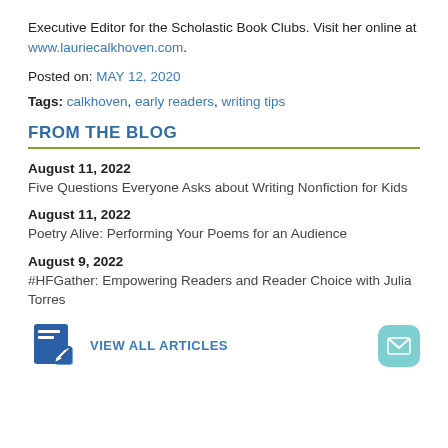Executive Editor for the Scholastic Book Clubs. Visit her online at www.lauriecalkhoven.com.
Posted on: MAY 12, 2020
Tags: calkhoven, early readers, writing tips
FROM THE BLOG
August 11, 2022
Five Questions Everyone Asks about Writing Nonfiction for Kids
August 11, 2022
Poetry Alive: Performing Your Poems for an Audience
August 9, 2022
#HFGather: Empowering Readers and Reader Choice with Julia Torres
VIEW ALL ARTICLES